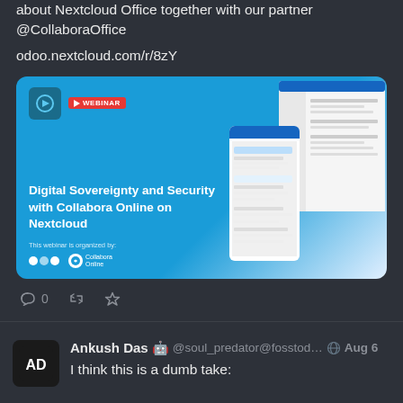about Nextcloud Office together with our partner @CollaboraOffice
odoo.nextcloud.com/r/8zY
[Figure (screenshot): Webinar thumbnail for 'Digital Sovereignty and Security with Collabora Online on Nextcloud' with blue background, Nextcloud and Collabora Online logos, and screenshots of the application on the right side]
0 (reply icon, retweet icon, star icon)
Ankush Das 🤖 @soul_predator@fosstod... Aug 6
I think this is a dumb take:

No, it will be more expensive to get a "gaming" mac than building a PC.